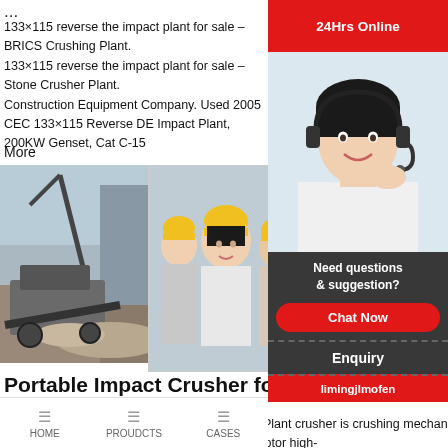...
133×115 reverse the impact plant for sale – BRICS Crushing Plant.
133×115 reverse the impact plant for sale – Stone Crusher Plant.
Construction Equipment Company. Used 2005 CEC 133×115 Reverse DE Impact Plant, 200KW Genset, Cat C-15
More
[Figure (photo): Mining/crushing equipment photo on left side]
[Figure (screenshot): Live chat overlay with construction workers photo, LIVE CHAT title, Click for a Free Consultation text, Chat now and Chat later buttons]
Portable Impact Crusher for sale,Portable Crushing ...
Working Principle of Portable Impact Crushing Plant crusher is crushing mechanical by use of impact ene material, working driven by the motor, the rotor high-
[Figure (photo): Right sidebar: 24Hrs Online banner, customer service agent photo with headset, Need questions & suggestion panel, Chat Now button, Enquiry section, limingjlmofen label]
HOME   PROUDCTS   CASES   limingjlmofen